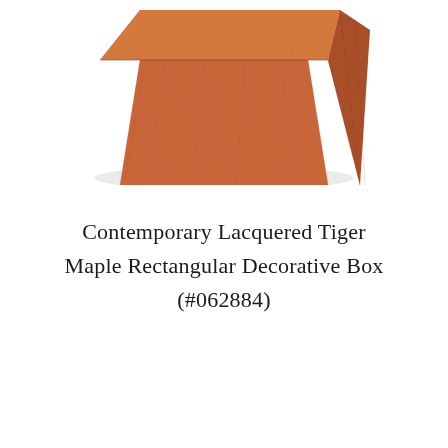[Figure (photo): Partial view of a contemporary lacquered tiger maple rectangular decorative wooden box, showing warm reddish-brown wood grain texture, photographed from above at an angle, cropped at top of page.]
Contemporary Lacquered Tiger Maple Rectangular Decorative Box (#062884)